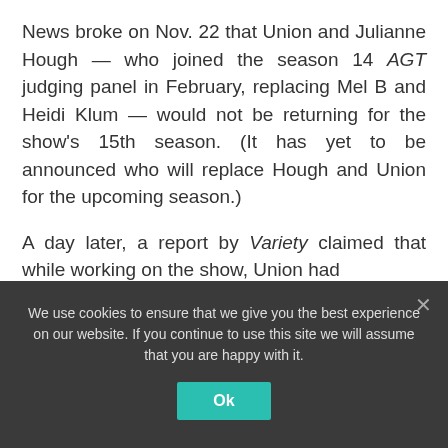News broke on Nov. 22 that Union and Julianne Hough — who joined the season 14 AGT judging panel in February, replacing Mel B and Heidi Klum — would not be returning for the show's 15th season. (It has yet to be announced who will replace Hough and Union for the upcoming season.)
A day later, a report by Variety claimed that while working on the show, Union had
We use cookies to ensure that we give you the best experience on our website. If you continue to use this site we will assume that you are happy with it.